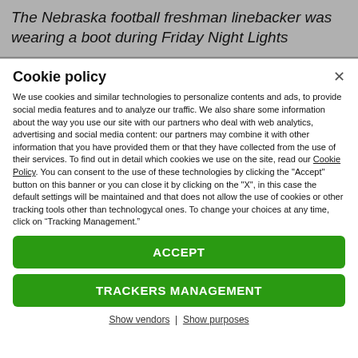The Nebraska football freshman linebacker was wearing a boot during Friday Night Lights
Cookie policy
We use cookies and similar technologies to personalize contents and ads, to provide social media features and to analyze our traffic. We also share some information about the way you use our site with our partners who deal with web analytics, advertising and social media content: our partners may combine it with other information that you have provided them or that they have collected from the use of their services. To find out in detail which cookies we use on the site, read our Cookie Policy. You can consent to the use of these technologies by clicking the "Accept" button on this banner or you can close it by clicking on the "X", in this case the default settings will be maintained and that does not allow the use of cookies or other tracking tools other than technologycal ones. To change your choices at any time, click on “Tracking Management.”
ACCEPT
TRACKERS MANAGEMENT
Show vendors | Show purposes